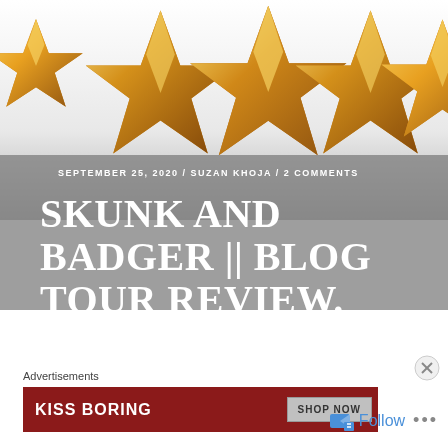[Figure (illustration): Five gold 3D stars arranged in a row on a white/grey gradient background, with a grey overlay band showing blog post metadata and title]
SEPTEMBER 25, 2020 / SUZAN KHOJA / 2 COMMENTS
SKUNK AND BADGER || BLOG TOUR REVIEW.
Advertisements
[Figure (screenshot): Advertisement banner with dark red background showing 'KISS BORING' text on left and 'SHOP NOW' button on right]
Follow